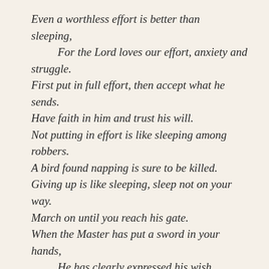Even a worthless effort is better than sleeping,
    For the Lord loves our effort, anxiety and struggle.
First put in full effort, then accept what he sends.
Have faith in him and trust his will.
Not putting in effort is like sleeping among robbers.
A bird found napping is sure to be killed.
Giving up is like sleeping, sleep not on your way.
March on until you reach his gate.
When the Master has put a sword in your hands,
    He has clearly expressed his wish.